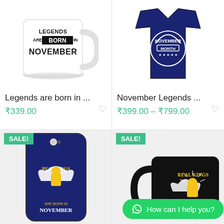[Figure (photo): White ceramic mug with text 'LEGENDS ARE BORN IN NOVEMBER' in bold black letters]
Legends are born in ...
₹339.00
[Figure (photo): Navy blue t-shirt/blanket with 'NOVEMBER' month legends graphic in white and blue]
November Legends ...
₹399.00 – ₹799.00
[Figure (photo): Navy blue iPhone phone case with 'REAL KINGS ARE BORN IN NOVEMBER' graphic featuring warrior with wings in yellow and white]
[Figure (photo): Black ceramic mug with 'REAL KINGS' graphic featuring warrior with wings in yellow and white]
How can I help you?